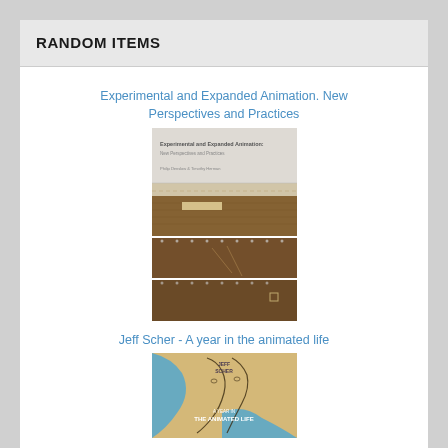RANDOM ITEMS
Experimental and Expanded Animation. New Perspectives and Practices
[Figure (photo): Book cover of 'Experimental and Expanded Animation: New Perspectives and Practices' showing three horizontal photographic strips of textured brown material]
Jeff Scher - A year in the animated life
[Figure (photo): Book cover of 'A Year in the Animated Life' by Jeff Scher showing illustrated line art of two faces with blue watercolor shapes on a tan background]